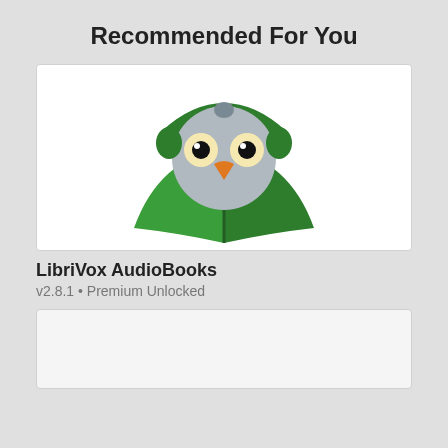Recommended For You
[Figure (illustration): LibriVox AudioBooks app icon: a cartoon owl/bird with green headphones peeking over an open green book, white background]
LibriVox AudioBooks
v2.8.1 • Premium Unlocked
[Figure (illustration): Partially visible second app card, content cut off at page bottom]